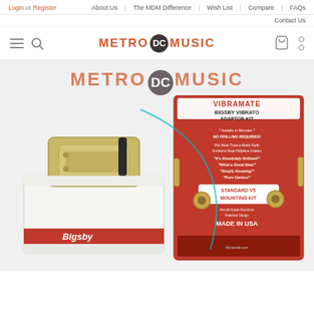Login or Register | About Us | The MDM Difference | Wish List | Compare | FAQs | Contact Us
[Figure (logo): Metro DC Music logo with hamburger menu, search icon, shopping cart, and settings dots in the main navigation bar]
[Figure (photo): Product photo showing a Bigsby vibrato tailpiece unit in box and a Vibramate Bigsby Vibrato Adaptor Kit (Standard V5 Mounting Kit, Made in USA) in retail packaging, with Metro DC Music watermark logo overlay]